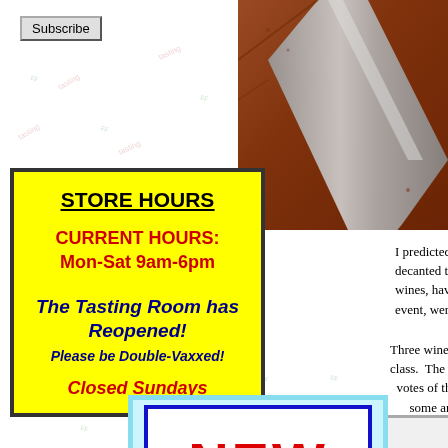Subscribe
[Figure (photo): Close-up photo of leather and metal strap/band, reddish-brown leather with gray metal hardware]
STORE HOURS
CURRENT HOURS:
Mon-Sat 9am-6pm
The Tasting Room has Reopened!
Please be Double-Vaxxed!
Closed Sundays
I predicted the decanted them a wines, having beer event, were easi
Three wines were class.  The wine w votes of the trio! some ar
[Figure (illustration): NEW sign in red bold text inside a blue-bordered white box, set within a light blue outer border frame]